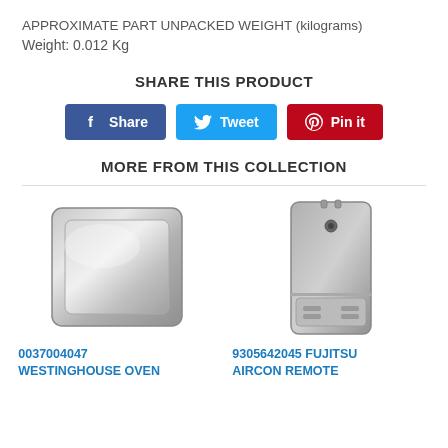APPROXIMATE PART UNPACKED WEIGHT (kilograms)
Weight: 0.012 Kg
SHARE THIS PRODUCT
[Figure (other): Social share buttons: Facebook Share, Twitter Tweet, Pinterest Pin it]
MORE FROM THIS COLLECTION
[Figure (photo): Westinghouse oven tray - rectangular metal baking tray, silver/grey color]
0037004047 WESTINGHOUSE OVEN
[Figure (photo): Fujitsu aircon remote control - grey plastic remote, back view]
9305642045 FUJITSU AIRCON REMOTE